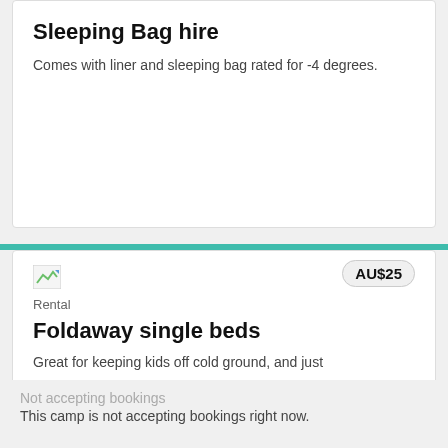Sleeping Bag hire
Comes with liner and sleeping bag rated for -4 degrees.
AU$25
Rental
Foldaway single beds
Great for keeping kids off cold ground, and just
Not accepting bookings
This camp is not accepting bookings right now.